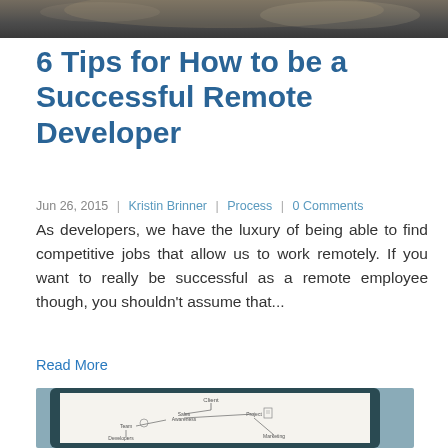[Figure (photo): Top cropped photo, dark background, blurry objects on a table]
6 Tips for How to be a Successful Remote Developer
Jun 26, 2015  |  Kristin Brinner  |  Process  |  0 Comments
As developers, we have the luxury of being able to find competitive jobs that allow us to work remotely. If you want to really be successful as a remote employee though, you shouldn't assume that...
Read More
[Figure (photo): Tablet device displaying a hand-drawn mind map/diagram with nodes labeled Client, Sales, Awareness, Project, Team, Developers, Marketing, etc.]